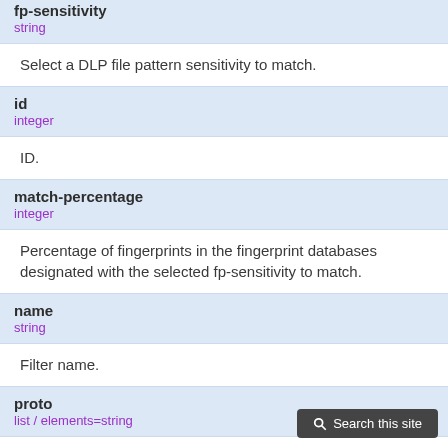fp-sensitivity
string
Select a DLP file pattern sensitivity to match.
id
integer
ID.
match-percentage
integer
Percentage of fingerprints in the fingerprint databases designated with the selected fp-sensitivity to match.
name
string
Filter name.
proto
list / elements=string
Check messages or files over one or more of